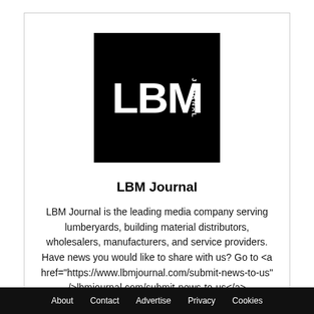[Figure (logo): LBM Journal logo — black square with white bold text 'LBM' and vertical text 'JOURNAL' on the right side]
LBM Journal
LBM Journal is the leading media company serving lumberyards, building material distributors, wholesalers, manufacturers, and service providers. Have news you would like to share with us? Go to <a href="https://www.lbmjournal.com/submit-news-to-us" />lbmjournal.com/submit-news-to-us</a>
About   Contact   Advertise   Privacy   Cookies